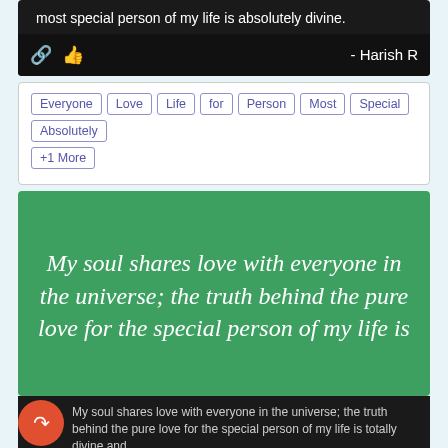most special person of my life is absolutely divine.
- Harish R
Everyone
Love
Life
for
Person
Most
Special
Absolutely
+1 More
My soul shares love with everyone in the universe; the truth behind the pure love for the special person of my life is
My soul shares love with everyone in the universe; the truth behind the pure love for the special person of my life is totally divine and